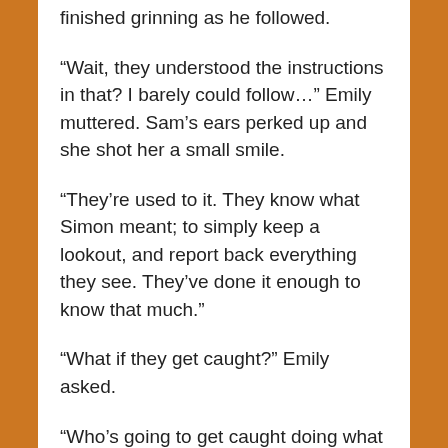finished grinning as he followed.
“Wait, they understood the instructions in that? I barely could follow…” Emily muttered. Sam’s ears perked up and she shot her a small smile.
“They’re used to it. They know what Simon meant; to simply keep a lookout, and report back everything they see. They’ve done it enough to know that much.”
“What if they get caught?” Emily asked.
“Who’s going to get caught doing what now?” Emma asked as she walked into the Tree. The horse that Emily barely recognized, Kevin she thought his name was, right behind her. They were surprisingly quiet. Emma’s footsteps barely